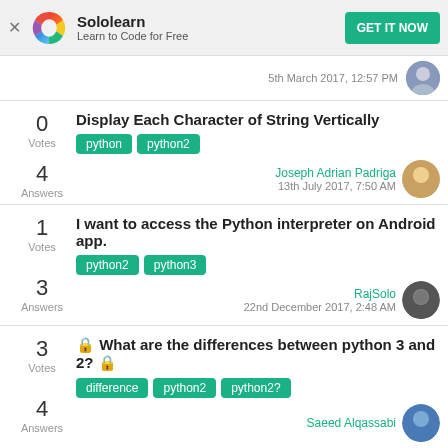[Figure (logo): Sololearn logo - colorful spiral icon]
Sololearn
Learn to Code for Free
GET IT NOW
5th March 2017, 12:57 PM
Display Each Character of String Vertically
python  python2
0 Votes
4 Answers
Joseph Adrian Padriga
13th July 2017, 7:50 AM
I want to access the Python interpreter on Android app.
python2  python3
1 Votes
3 Answers
RajSolo
22nd December 2017, 2:48 AM
🔒 What are the differences between python 3 and 2? 🔒
difference  python2  python2?
3 Votes
4 Answers
Saeed Alqassabi